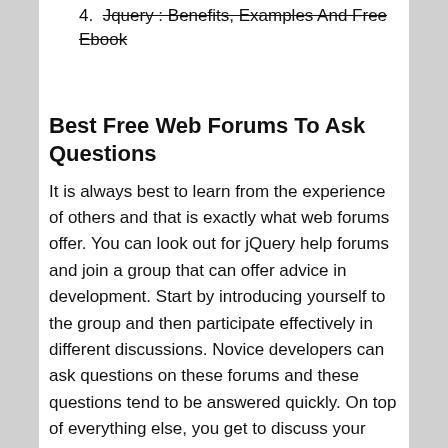4. Jquery : Benefits, Examples And Free Ebook (strikethrough)
Best Free Web Forums To Ask Questions
It is always best to learn from the experience of others and that is exactly what web forums offer. You can look out for jQuery help forums and join a group that can offer advice in development. Start by introducing yourself to the group and then participate effectively in different discussions. Novice developers can ask questions on these forums and these questions tend to be answered quickly. On top of everything else, you get to discuss your problems and get suggestions from some of the